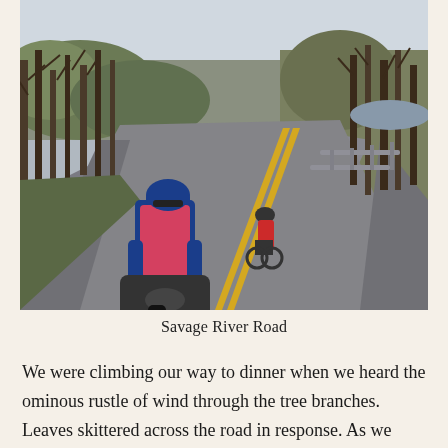[Figure (photo): Two cyclists riding on a winding road called Savage River Road. The foreground cyclist wears a blue jacket, pink vest, and blue helmet, with a handlebar bag. A second cyclist in red is visible in the background. Bare trees line both sides of the road, with a guardrail on the right and what appears to be a river. The road has double yellow center lines.]
Savage River Road
We were climbing our way to dinner when we heard the ominous rustle of wind through the tree branches. Leaves skittered across the road in response. As we pedaled higher and into less